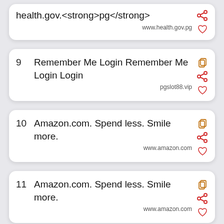health.gov.<strong>pg</strong> www.health.gov.pg
9 Remember Me Login Remember Me Login Login pgslot88.vip
10 Amazon.com. Spend less. Smile more. www.amazon.com
11 Amazon.com. Spend less. Smile more. www.amazon.com
12 If you're not sure which to read,